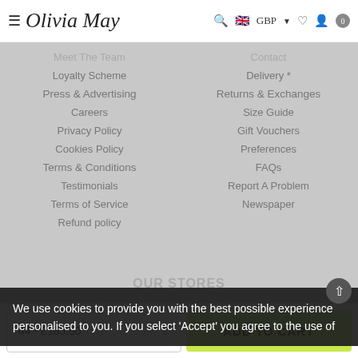Olivia May — GBP — Cart: 0
Meet The Team
Loyalty Scheme
Press & Advertising
Careers
Privacy Policy
Cookies Policy
Terms & Conditions
Testimonials
Terms of Service
Refund policy
Contact
Delivery *
Returns & Exchanges
Size Guide
Gift Vouchers
Preferences
FAQs
Report A Problem
Newspaper
OUR STORES
We use cookies to provide you with the best possible experience personalised to you. If you select 'Accept' you agree to the use of
44 - £185.50 — ADD TO CART